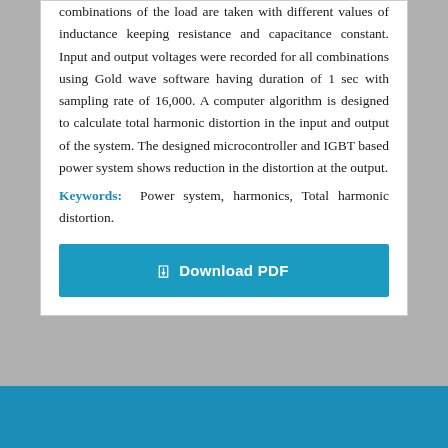combinations of the load are taken with different values of inductance keeping resistance and capacitance constant. Input and output voltages were recorded for all combinations using Gold wave software having duration of 1 sec with sampling rate of 16,000. A computer algorithm is designed to calculate total harmonic distortion in the input and output of the system. The designed microcontroller and IGBT based power system shows reduction in the distortion at the output.
Keywords: Power system, harmonics, Total harmonic distortion.
[Figure (other): Download PDF button with teal/blue background and download icon]